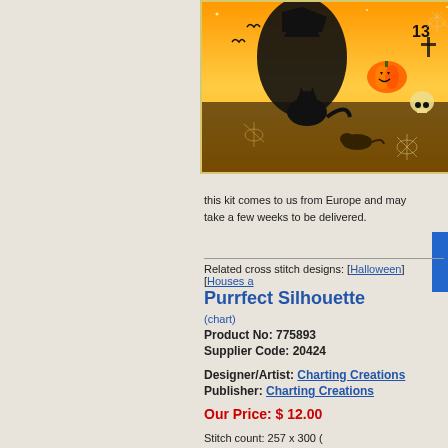[Figure (illustration): Halloween cross stitch design showing a witch silhouette, black cat, pumpkin jack-o-lantern, skull, spider webs, and other Halloween motifs in orange and black colors with the number 13 visible]
this kit comes to us from Europe and may take a few weeks to be delivered.
Related cross stitch designs: [Halloween] [Houses a...
Purrfect Silhouette
(chart)
Product No: 775893
Supplier Code: 20424
Designer/Artist: Charting Creations
Publisher: Charting Creations
Our Price: $ 12.00
Stitch count: 257 x 300 (